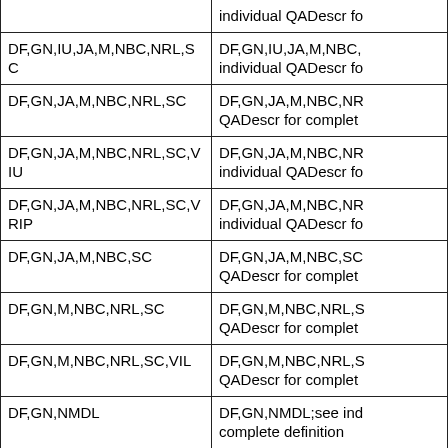| Key | Description |
| --- | --- |
|  | individual QADescr fo |
| DF,GN,IU,JA,M,NBC,NRL,SC | DF,GN,IU,JA,M,NBC,NRL,SC;individual QADescr fo |
| DF,GN,JA,M,NBC,NRL,SC | DF,GN,JA,M,NBC,NRL,SC;QADescr for complet |
| DF,GN,JA,M,NBC,NRL,SC,VIU | DF,GN,JA,M,NBC,NRL,SC,VIU;individual QADescr fo |
| DF,GN,JA,M,NBC,NRL,SC,VRIP | DF,GN,JA,M,NBC,NRL,SC,VRIP;individual QADescr fo |
| DF,GN,JA,M,NBC,SC | DF,GN,JA,M,NBC,SC;QADescr for complet |
| DF,GN,M,NBC,NRL,SC | DF,GN,M,NBC,NRL,SC;QADescr for complet |
| DF,GN,M,NBC,NRL,SC,VIL | DF,GN,M,NBC,NRL,SC,VIL;QADescr for complet |
| DF,GN,NMDL | DF,GN,NMDL;see individual QADescr for complete definition |
| DF,GN,NMDL,QAX | DF,GN,NMDL,QAX;see QADescr for complet |
| DF,GR | DF,GR;see individual QADescr for complete definition |
| DF,H | DF,H;see individual Q |